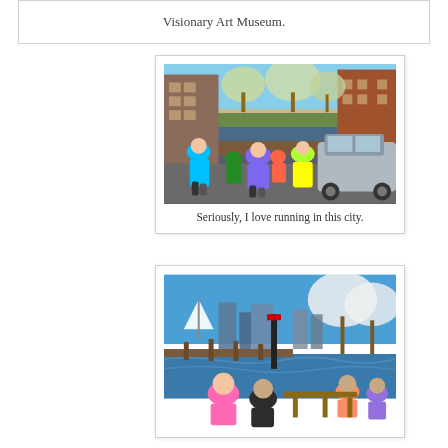Visionary Art Museum.
[Figure (photo): Runners in colorful athletic wear running down a tree-lined city street with brick rowhouses and parked cars. Spring trees with light foliage visible.]
Seriously, I love running in this city.
[Figure (photo): Runners near a city harbor with water, dock pilings, blooming trees, city skyline with buildings and what appears to be a white sail structure in the background.]